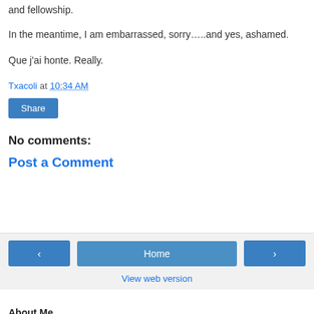and fellowship.
In the meantime, I am embarrassed, sorry…..and yes, ashamed.
Que j'ai honte. Really.
Txacoli at 10:34 AM
Share
No comments:
Post a Comment
‹  Home  ›  View web version
About Me